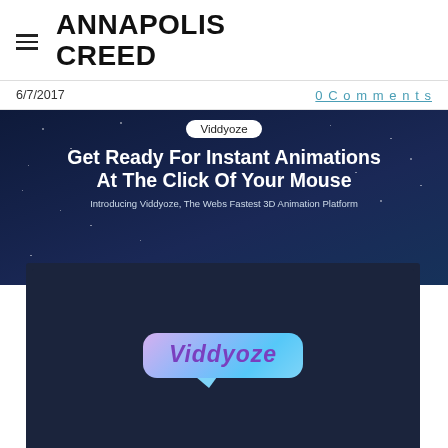ANNAPOLIS CREED
6/7/2017
0 Comments
[Figure (screenshot): Viddyoze promotional banner with dark blue starfield background showing the Viddyoze logo badge, bold headline 'Get Ready For Instant Animations At The Click Of Your Mouse', subtitle 'Introducing Viddyoze, The Webs Fastest 3D Animation Platform', embedded video player showing Viddyoze logo in a speech-bubble style graphic, and a video controls bar at the bottom with play button, timestamp, progress bar, and HD badge.]